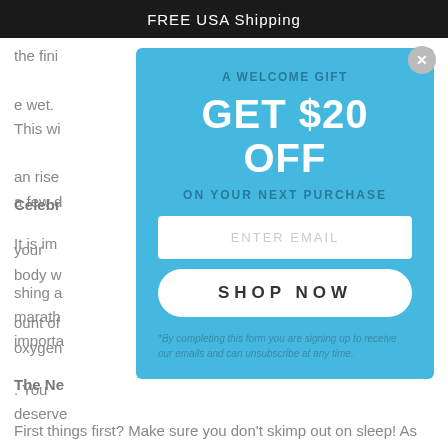FREE USA Shipping
the fini...e wet. This wi...an rise a few d...your body w...ount of oxygen...
Celebr...
It is imp...shing a marath...importa.... You deserve...hs, so treat...
The Ne...
First things first? Make sure you don't skimp out on sleep! As
[Figure (screenshot): Modal popup with blue background offering $20 off next purchase, with email input field, SHOP NOW button, and footnote about signing up for emails.]
A WELCOME GIFT
GET $20 OFF
ON YOUR NEXT PURCHASE
ENTER EMAIL
SHOP NOW
*By completing this form you are signing up to receive our emails and can unsubscribe at any time.